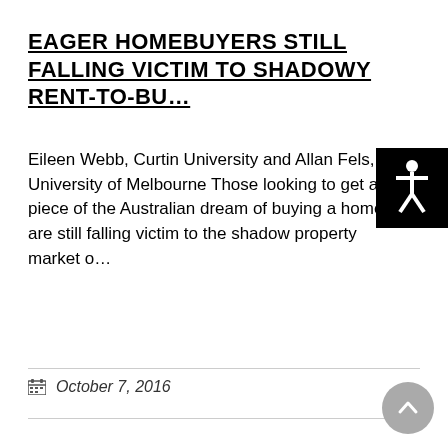EAGER HOMEBUYERS STILL FALLING VICTIM TO SHADOWY RENT-TO-BU…
Eileen Webb, Curtin University and Allan Fels, University of Melbourne Those looking to get a piece of the Australian dream of buying a home are still falling victim to the shadow property market o…
October 7, 2016